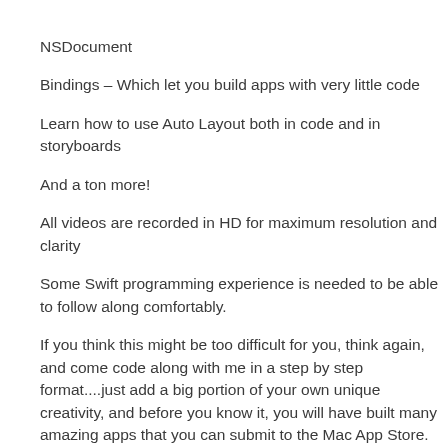NSDocument
Bindings – Which let you build apps with very little code
Learn how to use Auto Layout both in code and in storyboards
And a ton more!
All videos are recorded in HD for maximum resolution and clarity
Some Swift programming experience is needed to be able to follow along comfortably.
If you think this might be too difficult for you, think again, and come code along with me in a step by step format....just add a big portion of your own unique creativity, and before you know it, you will have built many amazing apps that you can submit to the Mac App Store. See you inside the course.